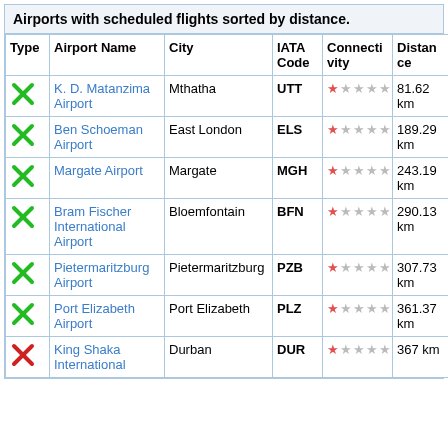Airports with scheduled flights sorted by distance.
| Type | Airport Name | City | IATA Code | Connectivity | Distance |
| --- | --- | --- | --- | --- | --- |
| ✗ | K. D. Matanzima Airport | Mthatha | UTT | ★☆☆☆☆ | 81.62 km |
| ✗ | Ben Schoeman Airport | East London | ELS | ★☆☆☆☆ | 189.29 km |
| ✗ | Margate Airport | Margate | MGH | ★☆☆☆☆ | 243.19 km |
| ✗ | Bram Fischer International Airport | Bloemfontain | BFN | ★☆☆☆☆ | 290.13 km |
| ✗ | Pietermaritzburg Airport | Pietermaritzburg | PZB | ★☆☆☆☆ | 307.73 km |
| ✗ | Port Elizabeth Airport | Port Elizabeth | PLZ | ★☆☆☆☆ | 361.37 km |
| ✗ | King Shaka International | Durban | DUR | ★☆☆☆☆ | 367 km |